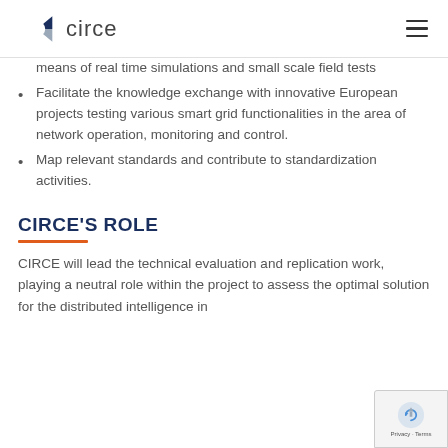circe
means of real time simulations and small scale field tests
Facilitate the knowledge exchange with innovative European projects testing various smart grid functionalities in the area of network operation, monitoring and control.
Map relevant standards and contribute to standardization activities.
CIRCE'S ROLE
CIRCE will lead the technical evaluation and replication work, playing a neutral role within the project to assess the optimal solution for the distributed intelligence in